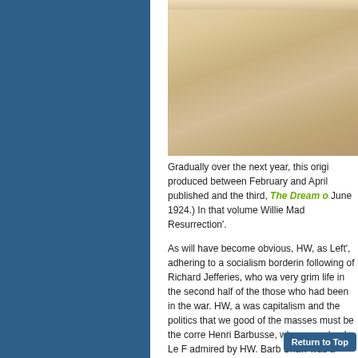[Figure (photo): A parchment or aged paper texture, beige/tan colored, with visible creases and worn spots. The upper portion has white highlights suggesting a fold or torn edge.]
Gradually over the next year, this origi produced between February and April published and the third, The Dream o June 1924.) In that volume Willie Mad Resurrection'.
As will have become obvious, HW, as Left', adhering to a socialism borderin following of Richard Jefferies, who wa very grim life in the second half of the those who had been in the war. HW, a was capitalism and the politics that we good of the masses must be the corre Henri Barbusse, whose war book Le F admired by HW. Barb Shaw was a prominent writer who al